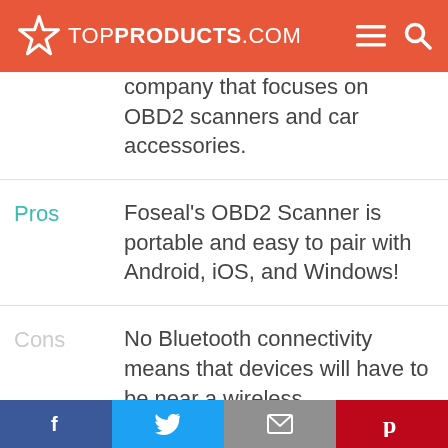TOPPRODUCTS.COM
company that focuses on OBD2 scanners and car accessories.
Pros – Foseal's OBD2 Scanner is portable and easy to pair with Android, iOS, and Windows!
Cons – No Bluetooth connectivity means that devices will have to be near a wireless
Facebook | Twitter | Email | Pinterest